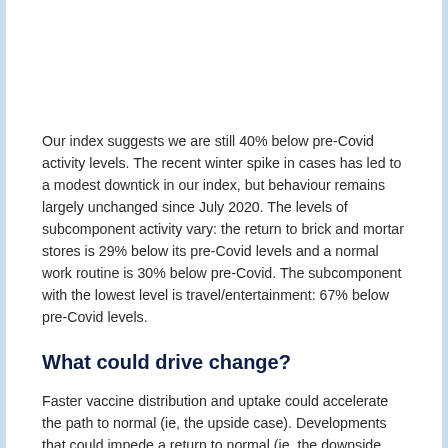Our index suggests we are still 40% below pre-Covid activity levels. The recent winter spike in cases has led to a modest downtick in our index, but behaviour remains largely unchanged since July 2020. The levels of subcomponent activity vary: the return to brick and mortar stores is 29% below its pre-Covid levels and a normal work routine is 30% below pre-Covid. The subcomponent with the lowest level is travel/entertainment: 67% below pre-Covid levels.
What could drive change?
Faster vaccine distribution and uptake could accelerate the path to normal (ie, the upside case). Developments that could impede a return to normal (ie, the downside case) include the emergence of variants that are resistant